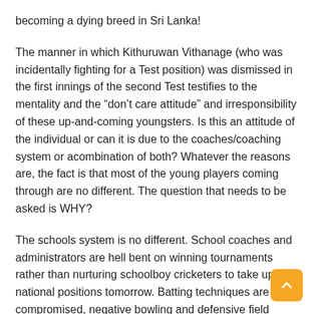becoming a dying breed in Sri Lanka!
The manner in which Kithuruwan Vithanage (who was incidentally fighting for a Test position) was dismissed in the first innings of the second Test testifies to the mentality and the “don’t care attitude” and irresponsibility of these up-and-coming youngsters. Is this an attitude of the individual or can it is due to the coaches/coaching system or acombination of both? Whatever the reasons are, the fact is that most of the young players coming through are no different. The question that needs to be asked is WHY?
The schools system is no different. School coaches and administrators are hell bent on winning tournaments rather than nurturing schoolboy cricketers to take up national positions tomorrow. Batting techniques are compromised, negative bowling and defensive field setting has become the order of the day.No wonder there are no school cricketers emerging. Thus it is not surprising that Sri Lanka has not produced a good schoolboy cricketer to play at National Level after Angelo Matthews.